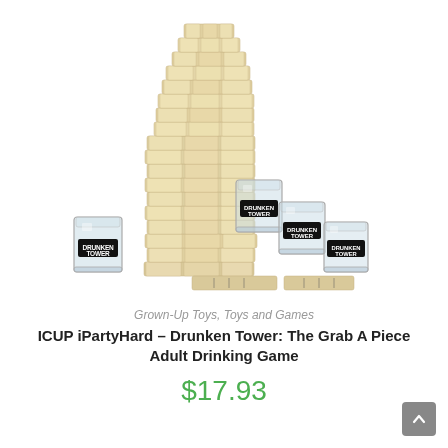[Figure (photo): A Jenga-style wooden block tower stacked tall, surrounded by four shot glasses labeled 'DRUNKEN TOWER' and two wooden blocks with printed text on them, arranged on a white background.]
Grown-Up Toys, Toys and Games
ICUP iPartyHard – Drunken Tower: The Grab A Piece Adult Drinking Game
$17.93